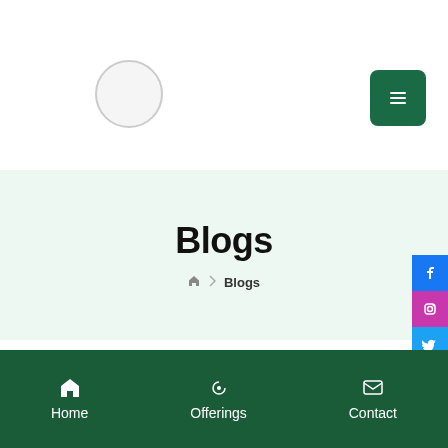[Figure (logo): Circular logo placeholder in the top-left area of the navigation bar]
[Figure (other): Dark green square hamburger menu button in the top-right corner]
Blogs
Home > Blogs (breadcrumb navigation)
[Figure (other): Light gray content card placeholder in the content area]
[Figure (other): Social media sidebar buttons: Facebook (blue), Instagram (purple), Twitter (cyan), Pinterest (red)]
Home | Offerings | Contact